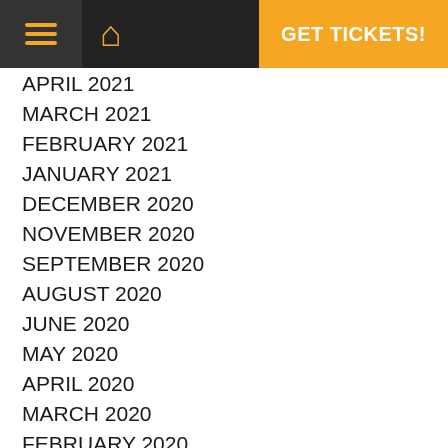GET TICKETS!
APRIL 2021
MARCH 2021
FEBRUARY 2021
JANUARY 2021
DECEMBER 2020
NOVEMBER 2020
SEPTEMBER 2020
AUGUST 2020
JUNE 2020
MAY 2020
APRIL 2020
MARCH 2020
FEBRUARY 2020
NOVEMBER 2019
OCTOBER 2019
AUGUST 2019